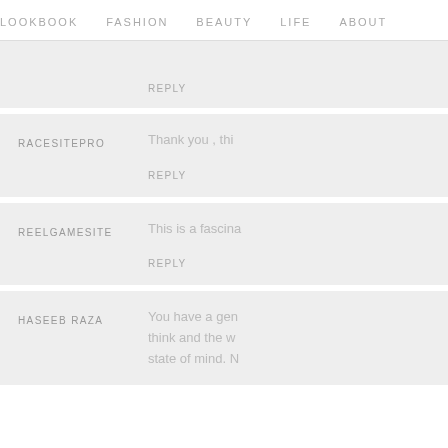LOOKBOOK   FASHION   BEAUTY   LIFE   ABOUT
REPLY
RACESITEPRO
Thank you , thi
REPLY
REELGAMESITE
This is a fascina
REPLY
HASEEB RAZA
You have a gen think and the w state of mind. N